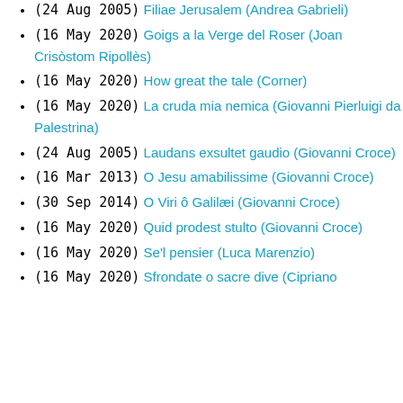(24 Aug 2005)  Filiae Jerusalem (Andrea Gabrieli)
(16 May 2020)  Goigs a la Verge del Roser (Joan Crisòstom Ripollès)
(16 May 2020)  How great the tale (Corner)
(16 May 2020)  La cruda mia nemica (Giovanni Pierluigi da Palestrina)
(24 Aug 2005)  Laudans exsultet gaudio (Giovanni Croce)
(16 Mar 2013)  O Jesu amabilissime (Giovanni Croce)
(30 Sep 2014)  O Viri ô Galilæi (Giovanni Croce)
(16 May 2020)  Quid prodest stulto (Giovanni Croce)
(16 May 2020)  Se'l pensier (Luca Marenzio)
(16 May 2020)  Sfrondate o sacre dive (Cipriano